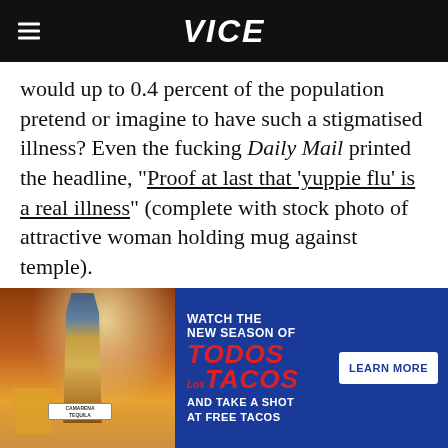VICE
would up to 0.4 percent of the population pretend or imagine to have such a stigmatised illness? Even the fucking Daily Mail printed the headline, "Proof at last that 'yuppie flu' is a real illness" (complete with stock photo of attractive woman holding mug against temple).
Negative attitudes are hard to shake, even in the face of science. For some reason, a lot of
[Figure (photo): Advertisement banner for Camarena tequila promoting 'Todos Los Tacos' new season with a bottle of Camarena tequila and a cocktail glass on the left, blue background with text on the right, and a 'Learn More' button.]